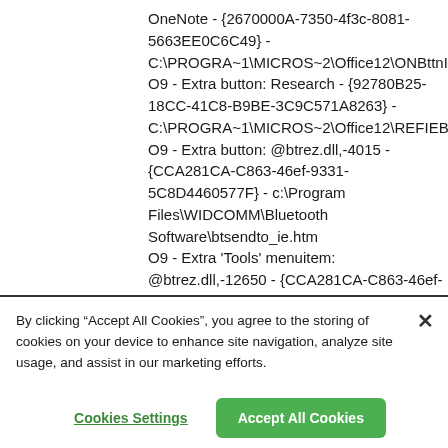OneNote - {2670000A-7350-4f3c-8081-5663EE0C6C49} - C:\PROGRA~1\MICROS~2\Office12\ONBttnIE O9 - Extra button: Research - {92780B25-18CC-41C8-B9BE-3C9C571A8263} - C:\PROGRA~1\MICROS~2\Office12\REFIEBA O9 - Extra button: @btrez.dll,-4015 - {CCA281CA-C863-46ef-9331-5C8D4460577F} - c:\Program Files\WIDCOMM\Bluetooth Software\btsendto_ie.htm O9 - Extra 'Tools' menuitem: @btrez.dll,-12650 - {CCA281CA-C863-46ef-9331-5C8D4460577F} - c:\Program Files\WIDCOMM\Bluetooth
By clicking "Accept All Cookies", you agree to the storing of cookies on your device to enhance site navigation, analyze site usage, and assist in our marketing efforts.
Cookies Settings
Accept All Cookies